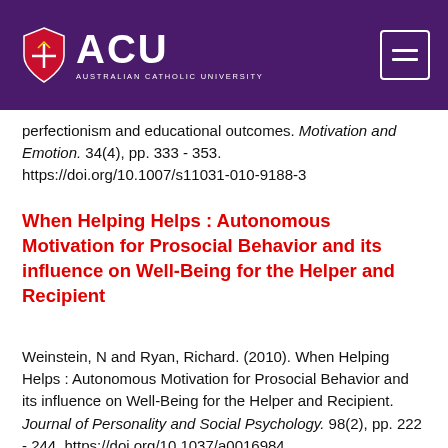ACU – Australian Catholic University
perfectionism and educational outcomes. Motivation and Emotion. 34(4), pp. 333 - 353. https://doi.org/10.1007/s11031-010-9188-3
When Helping Helps : Autonomous Motivation for Prosocial Behavior and its influence on Well-Being for the Helper and Recipient
Weinstein, N and Ryan, Richard. (2010). When Helping Helps : Autonomous Motivation for Prosocial Behavior and its influence on Well-Being for the Helper and Recipient. Journal of Personality and Social Psychology. 98(2), pp. 222 - 244. https://doi.org/10.1037/a0016984